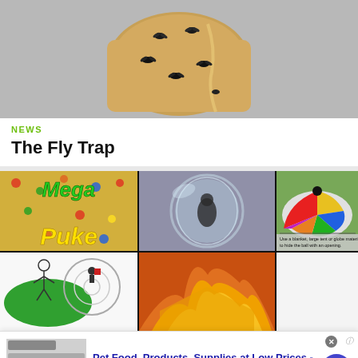[Figure (photo): Close-up photo of flies stuck to a tan/brown sticky fly trap surface against a gray background]
NEWS
The Fly Trap
[Figure (photo): Grid of images including: Mega Puke text over cereal, person in hamster ball, colorful globe tent with text, stick figure animation, fire scene, instructional text about water-filled globe prank]
[Figure (screenshot): Advertisement for Chewy.com: Pet Food, Products, Supplies at Low Prices - Pay the lowest prices on pet supplies at Chewy.com]